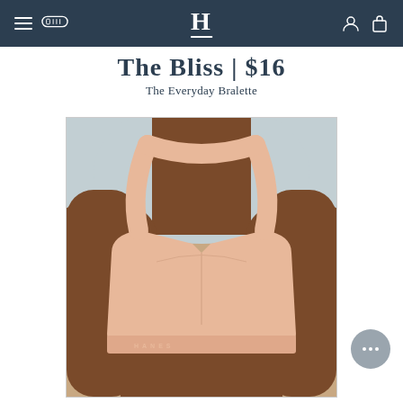H — Hanes navigation header with menu, tape measure icon, logo H, account and bag icons
The Bliss | $16
The Everyday Bralette
[Figure (photo): Close-up photo of a dark-skinned woman wearing a nude/blush pink racerback bralette. The bralette has a scoop neckline, wide straps, and features the brand name along the elastic waistband. Light grey background.]